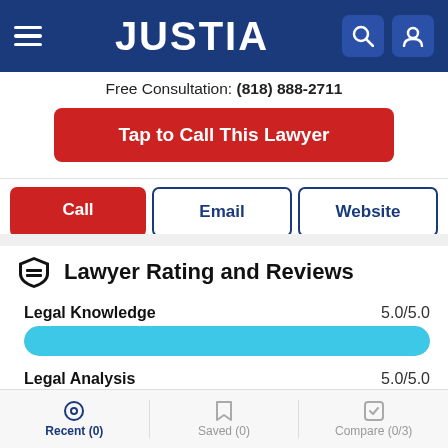JUSTIA
Free Consultation: (818) 888-2711
Tap to Call This Lawyer
Call | Email | Website
Lawyer Rating and Reviews
Legal Knowledge  5.0/5.0
[Figure (bar-chart): Legal Knowledge rating bar]
Legal Analysis  5.0/5.0
Recent (0)  Saved (0)  Compare (0/3)